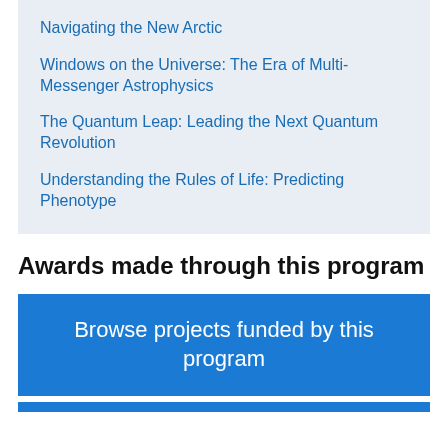Navigating the New Arctic
Windows on the Universe: The Era of Multi-Messenger Astrophysics
The Quantum Leap: Leading the Next Quantum Revolution
Understanding the Rules of Life: Predicting Phenotype
Awards made through this program
Browse projects funded by this program